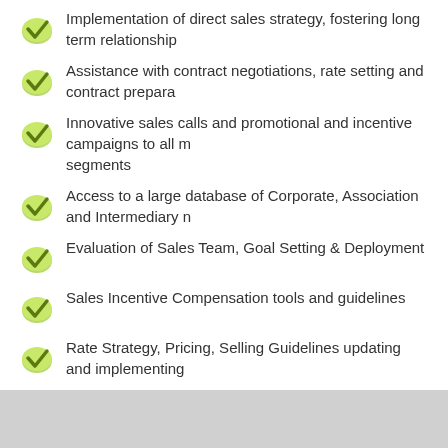Implementation of direct sales strategy, fostering long term relationship
Assistance with contract negotiations, rate setting and contract prepara
Innovative sales calls and promotional and incentive campaigns to all m segments
Access to a large database of Corporate, Association and Intermediary n
Evaluation of Sales Team, Goal Setting & Deployment
Sales Incentive Compensation tools and guidelines
Rate Strategy, Pricing, Selling Guidelines updating and implementing
Share this: